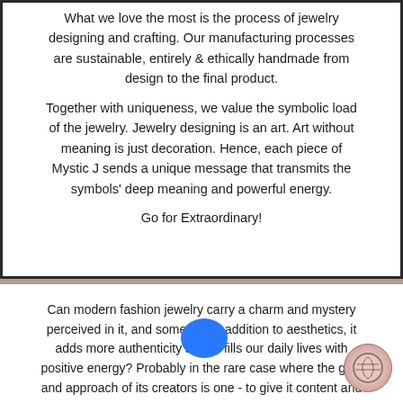designing and crafting. Our manufacturing processes are sustainable, entirely & ethically handmade from design to the final product.
Together with uniqueness, we value the symbolic load of the jewelry. Jewelry designing is an art. Art without meaning is just decoration. Hence, each piece of Mystic J sends a unique message that transmits the symbols' deep meaning and powerful energy.
Go for Extraordinary!
Can modern fashion jewelry carry a charm and mystery perceived in it, and something in addition to aesthetics, it adds more authenticity and fills our daily lives with positive energy? Probably in the rare case where the goal and approach of its creators is one - to give it content and